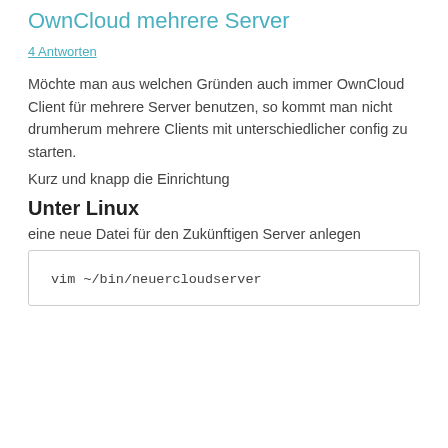OwnCloud mehrere Server
4 Antworten
Möchte man aus welchen Gründen auch immer OwnCloud Client für mehrere Server benutzen, so kommt man nicht drumherum mehrere Clients mit unterschiedlicher config zu starten.
Kurz und knapp die Einrichtung
Unter Linux
eine neue Datei für den Zukünftigen Server anlegen
vim ~/bin/neuercloudserver